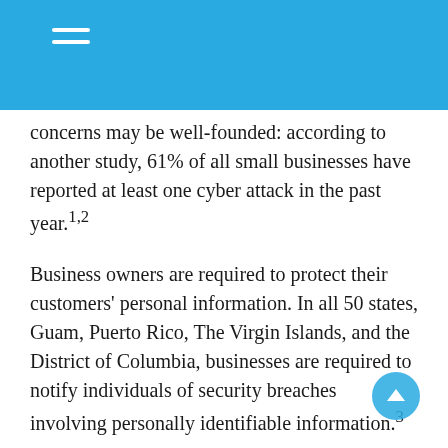concerns may be well-founded: according to another study, 61% of all small businesses have reported at least one cyber attack in the past year.1,2
Business owners are required to protect their customers' personal information. In all 50 states, Guam, Puerto Rico, The Virgin Islands, and the District of Columbia, businesses are required to notify individuals of security breaches involving personally identifiable information.3
As evidenced by news of large-scale data breaches, online hacking has become another form of risk that businesses now face every day. Like many risks, businesses can insure themselves against the financial